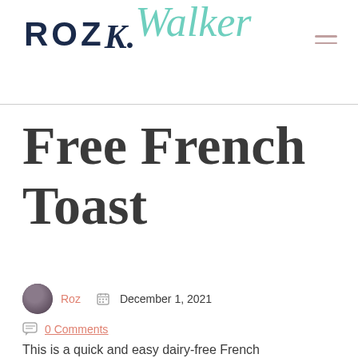ROZ K. Walker
Free French Toast
Roz  December 1, 2021
0 Comments
This is a quick and easy dairy-free French toast that...